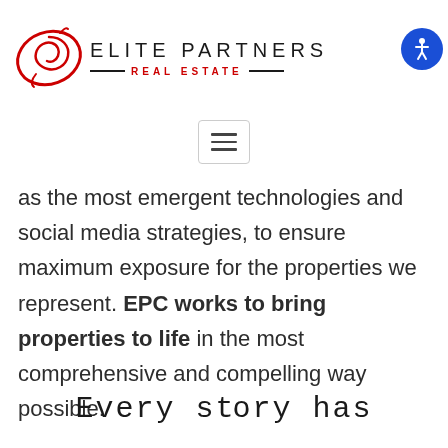ELITE PARTNERS REAL ESTATE
[Figure (logo): Elite Partners Real Estate logo with red swirl/spiral graphic and text]
as the most emergent technologies and social media strategies, to ensure maximum exposure for the properties we represent. EPC works to bring properties to life in the most comprehensive and compelling way possible.
Every story has